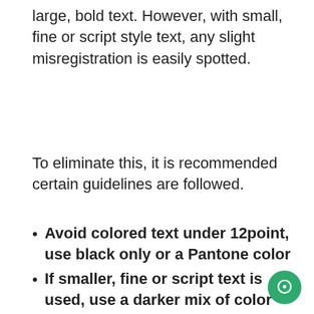large, bold text. However, with small, fine or script style text, any slight misregistration is easily spotted.
To eliminate this, it is recommended certain guidelines are followed.
Avoid colored text under 12point, use black only or a Pantone color
If smaller, fine or script text is used, use a darker mix of color
When using text over an image ensure the image is lightened so the text is legible.
If text is white or lighter than a solid background ensure it is bold and large enough to be read easily.